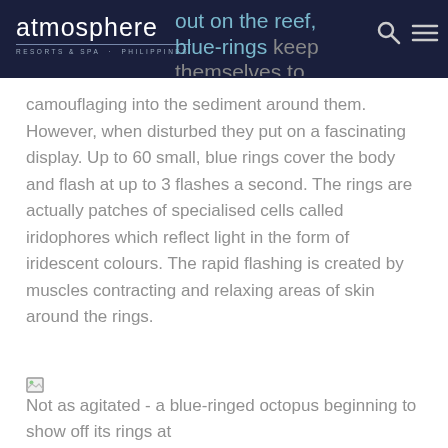atmosphere RESORTS & SPA · PHILIPPINES
out on the reef, blue-rings keep themselves to themselves by camouflaging into the sediment around them. However, when disturbed they put on a fascinating display. Up to 60 small, blue rings cover the body and flash at up to 3 flashes a second. The rings are actually patches of specialised cells called iridophores which reflect light in the form of iridescent colours. The rapid flashing is created by muscles contracting and relaxing areas of skin around the rings.
[Figure (photo): Not as agitated - a blue-ringed octopus beginning to show off its rings at [location]]